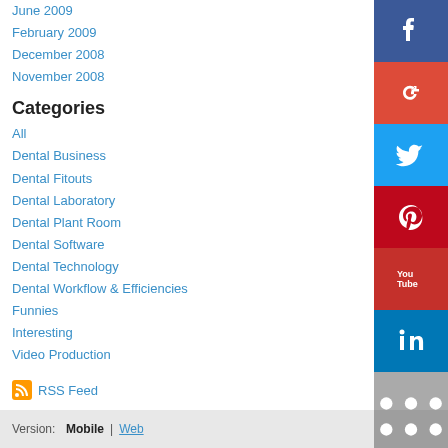June 2009
February 2009
December 2008
November 2008
Categories
All
Dental Business
Dental Fitouts
Dental Laboratory
Dental Plant Room
Dental Software
Dental Technology
Dental Workflow & Efficiencies
Funnies
Interesting
Video Production
RSS Feed
Version:  Mobile  |  Web